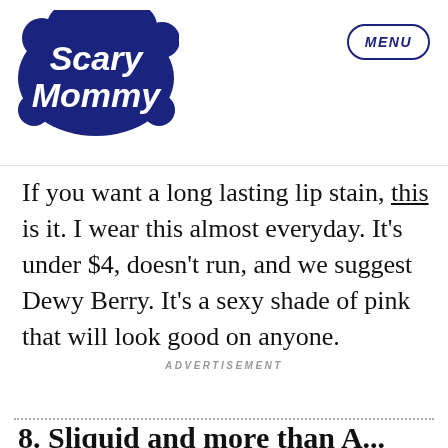[Figure (logo): Scary Mommy logo in dark navy blue with bubbly cartoon lettering]
MENU
If you want a long lasting lip stain, this is it. I wear this almost everyday. It’s under $4, doesn’t run, and we suggest Dewy Berry. It’s a sexy shade of pink that will look good on anyone.
ADVERTISEMENT
8. Sliquid and more than A...